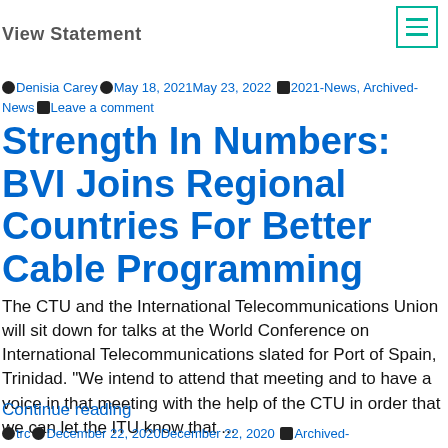View Statement
Denisia Carey  May 18, 2021May 23, 2022  2021-News, Archived-News  Leave a comment
Strength In Numbers: BVI Joins Regional Countries For Better Cable Programming
The CTU and the International Telecommunications Union will sit down for talks at the World Conference on International Telecommunications slated for Port of Spain, Trinidad. "We intend to attend that meeting and to have a voice in that meeting with the help of the CTU in order that we can let the ITU know that ...
Continue reading
trc  December 22, 2020December 22, 2020  Archived-